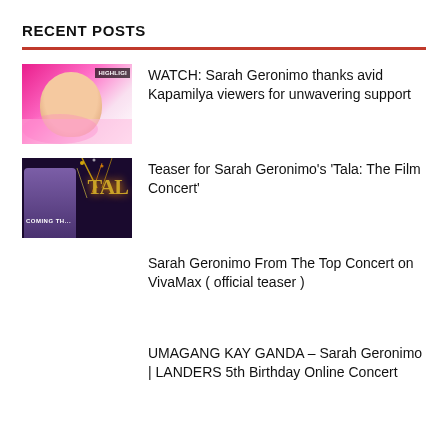RECENT POSTS
WATCH: Sarah Geronimo thanks avid Kapamilya viewers for unwavering support
Teaser for Sarah Geronimo’s ‘Tala: The Film Concert’
Sarah Geronimo From The Top Concert on VivaMax ( official teaser )
UMAGANG KAY GANDA – Sarah Geronimo | LANDERS 5th Birthday Online Concert